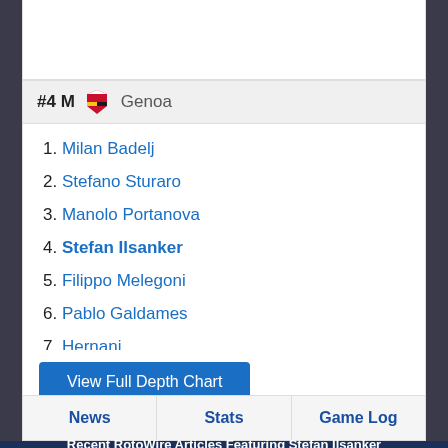#4 M  Genoa
1. Milan Badelj
2. Stefano Sturaro
3. Manolo Portanova
4. Stefan Ilsanker
5. Filippo Melegoni
6. Pablo Galdames
7. Hernani
8. Morten Frendrup
9. Lukas Augustin Konig
View Full Depth Chart
News  Stats  Game Log
Recent RotoWire Articles Featuring Stefan Ilsanker